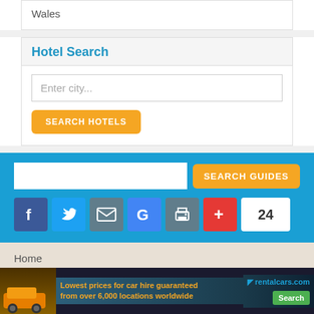Wales
Hotel Search
Enter city...
SEARCH HOTELS
SEARCH GUIDES
[Figure (screenshot): Social media share icons: Facebook, Twitter, Email, Google, Print, Plus, and a count badge showing 24]
Home
Our Blog
Contact Us
Privacy Policy / Disclaimer
[Figure (photo): rentalcars.com advertisement banner: orange car, mountains background, text 'Lowest prices for car hire guaranteed from over 6,000 locations worldwide', Search button]